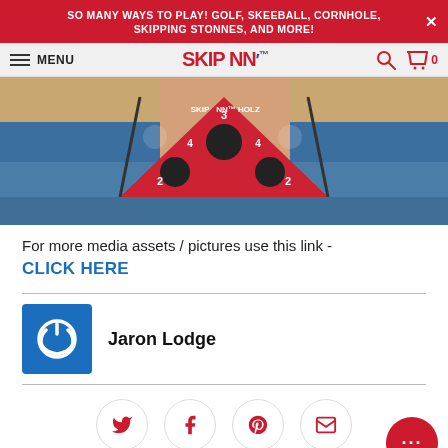SO MANY WAYS TO PLAY! GOLF, SKEEBALL, CORNHOLE, SKIPPING STONNES, AND MORE!
MENU | SKIP NN' | 0
[Figure (photo): Person in a swimming pool holding a triangular red game board labeled 'Skip NN Holz' with numbered holes]
For more media assets / pictures use this link -
CLICK HERE
Jaron Lodge
[Figure (illustration): Blue square icon with white power button symbol - author avatar for Jaron Lodge]
[Figure (other): Social sharing buttons: Twitter, Facebook, Pinterest, Email and chat bubble]